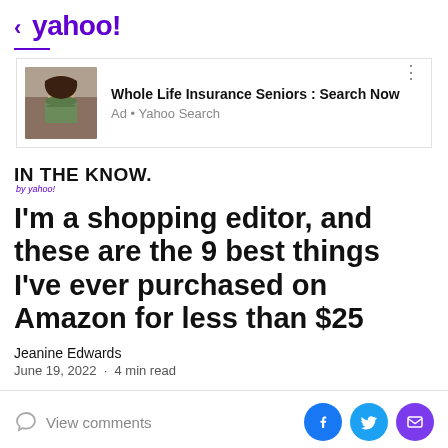< yahoo!
[Figure (photo): Advertisement banner with photo of a smiling young man. Ad title: Whole Life Insurance Seniors : Search Now. Ad source: Yahoo Search.]
IN THE KNOW. by yahoo!
I'm a shopping editor, and these are the 9 best things I've ever purchased on Amazon for less than $25
Jeanine Edwards
June 19, 2022  ·  4 min read
View comments